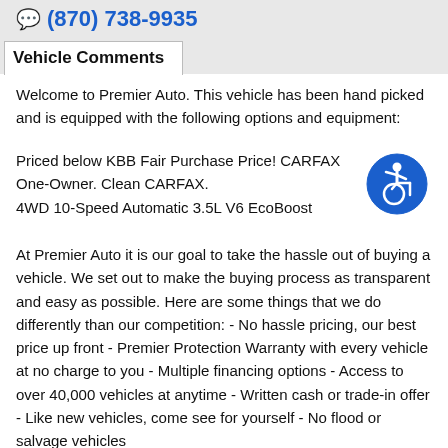(870) 738-9935
Vehicle Comments
Welcome to Premier Auto. This vehicle has been hand picked and is equipped with the following options and equipment:
Priced below KBB Fair Purchase Price! CARFAX One-Owner. Clean CARFAX.
4WD 10-Speed Automatic 3.5L V6 EcoBoost
[Figure (illustration): Blue circular accessibility icon with wheelchair user symbol]
At Premier Auto it is our goal to take the hassle out of buying a vehicle. We set out to make the buying process as transparent and easy as possible. Here are some things that we do differently than our competition: - No hassle pricing, our best price up front - Premier Protection Warranty with every vehicle at no charge to you - Multiple financing options - Access to over 40,000 vehicles at anytime - Written cash or trade-in offer - Like new vehicles, come see for yourself - No flood or salvage vehicles